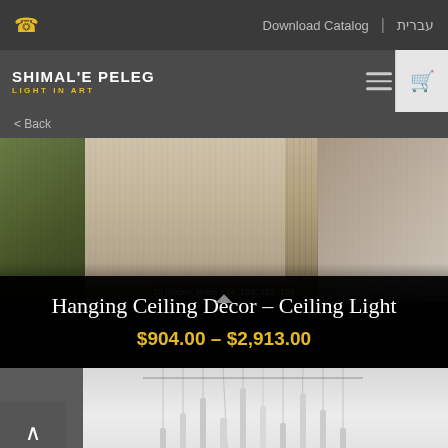Download Catalog | עברית
SHIMAL'E PELEG LIGHT IN ART
< Back
[Figure (photo): Product photo showing a hanging ceiling light installation above a woven rug with plants and white chairs. Text overlay reads: 16 pieces, glass 124, 104, 122, 109]
Hanging Ceiling Decor – Ceiling Light
$904.00 – $2,913.00
[Figure (photo): Bottom portion of product photo showing hanging pendant lights against a light grey background]